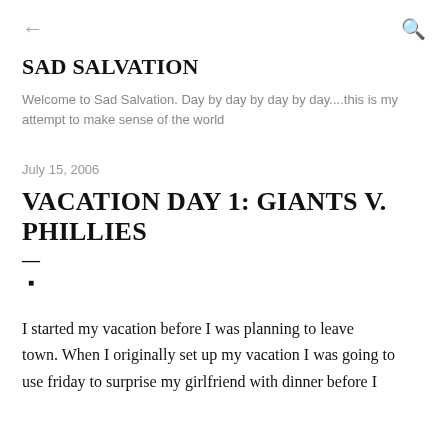← (back arrow)   (search icon)
SAD SALVATION
Welcome to Sad Salvation. Day by day by day by day....this is my attempt to make sense of the world
July 15, 2006
VACATION DAY 1: GIANTS V. PHILLIES
—
■
I started my vacation before I was planning to leave town. When I originally set up my vacation I was going to use friday to surprise my girlfriend with dinner before I